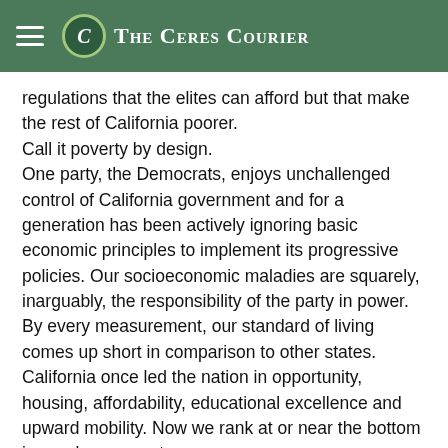The Ceres Courier
regulations that the elites can afford but that make the rest of California poorer.
Call it poverty by design.
One party, the Democrats, enjoys unchallenged control of California government and for a generation has been actively ignoring basic economic principles to implement its progressive policies. Our socioeconomic maladies are squarely, inarguably, the responsibility of the party in power. By every measurement, our standard of living comes up short in comparison to other states. California once led the nation in opportunity, housing, affordability, educational excellence and upward mobility. Now we rank at or near the bottom in nearly every category.
California's has America's highest poverty rate at 20.6 percent, according to the Census Bureau's Supplemental Poverty Measure,